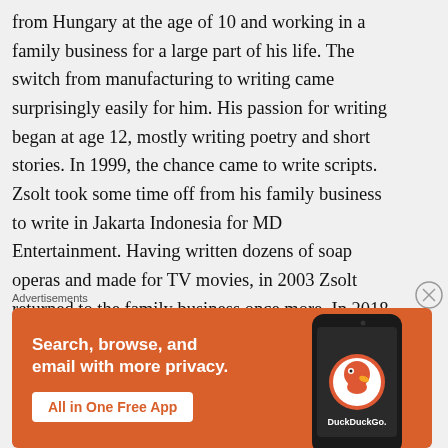from Hungary at the age of 10 and working in a family business for a large part of his life. The switch from manufacturing to writing came surprisingly easily for him. His passion for writing began at age 12, mostly writing poetry and short stories. In 1999, the chance came to write scripts. Zsolt took some time off from his family business to write in Jakarta Indonesia for MD Entertainment. Having written dozens of soap operas and made for TV movies, in 2003 Zsolt returned to the family business once more. In 2018, he had the chance to head back to Asia
[Figure (other): Close button (X in circle) for dismissing an advertisement]
Advertisements
[Figure (illustration): DuckDuckGo advertisement banner on orange background. Text reads: 'Search, browse, and email with more privacy. All in One Free App'. Shows a smartphone with the DuckDuckGo logo and brand name.]